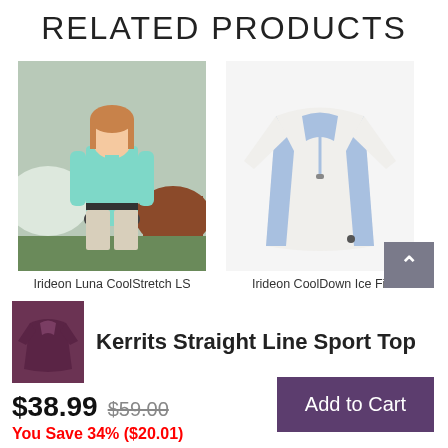RELATED PRODUCTS
[Figure (photo): Woman wearing a teal/mint CoolStretch long sleeve top standing near horses outdoors]
Irideon Luna CoolStretch LS
[Figure (photo): White and blue quarter-zip pullover shirt on white background]
Irideon CoolDown Ice Fil
[Figure (photo): Purple/plum short sleeve sport top thumbnail]
Kerrits Straight Line Sport Top
$38.99 $59.00
You Save 34% ($20.01)
Add to Cart